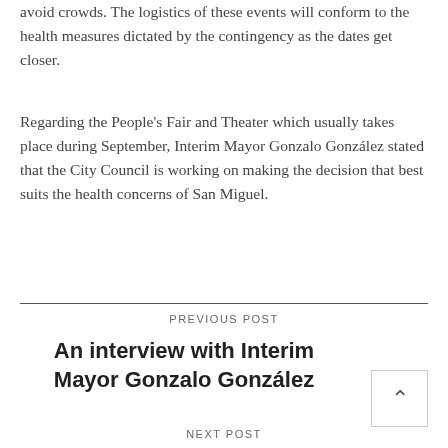avoid crowds. The logistics of these events will conform to the health measures dictated by the contingency as the dates get closer.
Regarding the People's Fair and Theater which usually takes place during September, Interim Mayor Gonzalo González stated that the City Council is working on making the decision that best suits the health concerns of San Miguel.
PREVIOUS POST
An interview with Interim Mayor Gonzalo González
NEXT POST